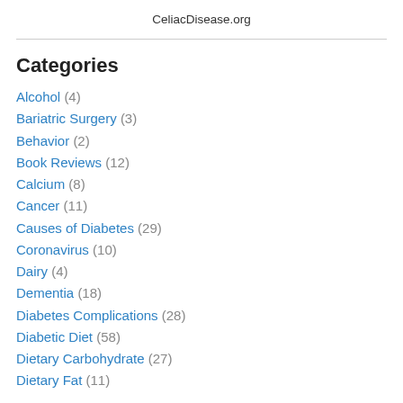CeliacDisease.org
Categories
Alcohol (4)
Bariatric Surgery (3)
Behavior (2)
Book Reviews (12)
Calcium (8)
Cancer (11)
Causes of Diabetes (29)
Coronavirus (10)
Dairy (4)
Dementia (18)
Diabetes Complications (28)
Diabetic Diet (58)
Dietary Carbohydrate (27)
Dietary Fat (11)